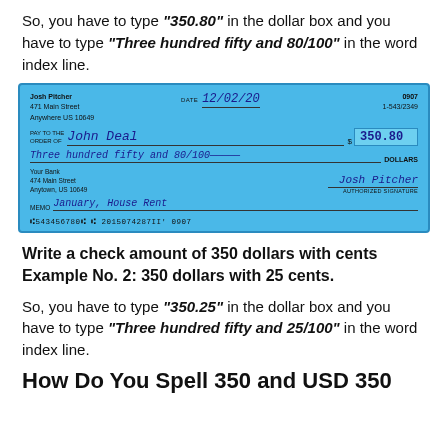So, you have to type "350.80" in the dollar box and you have to type "Three hundred fifty and 80/100" in the word index line.
[Figure (illustration): A sample check made out by Josh Pitcher, 471 Main Street, Anywhere US 10649. Date: 12/02/20. Pay to the order of John Deal. Amount: $350.80. Written amount: Three hundred fifty and 80/100 DOLLARS. Bank: Your Bank, 474 Main Street, Anytown, US 10649. Memo: January, House Rent. Authorized signature: Josh Pitcher. Routing/account numbers: #543456780 # 2015074287II' 0907.]
Write a check amount of 350 dollars with cents Example No. 2: 350 dollars with 25 cents.
So, you have to type "350.25" in the dollar box and you have to type "Three hundred fifty and 25/100" in the word index line.
How Do You Spell 350 and USD 350